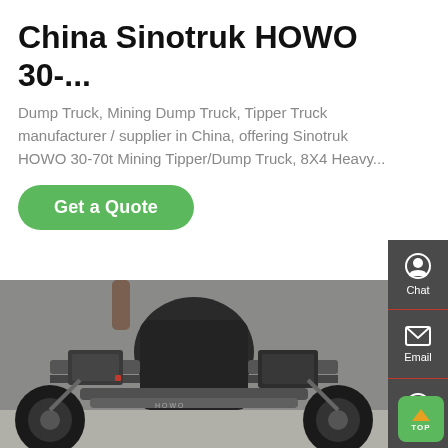China Sinotruk HOWO 30-...
Dump Truck, Mining Dump Truck, Tipper Truck manufacturer / supplier in China, offering Sinotruk HOWO 30-70t Mining Tipper/Dump Truck, 8X4 Heavy...
[Figure (screenshot): Green 'Get a Quote' button]
[Figure (photo): Underside view of a Sinotruk HOWO dump truck chassis showing axles, suspension, and drivetrain components]
[Figure (infographic): Dark sidebar with Chat, Email, and Contact icons, plus a green TOP navigation button]